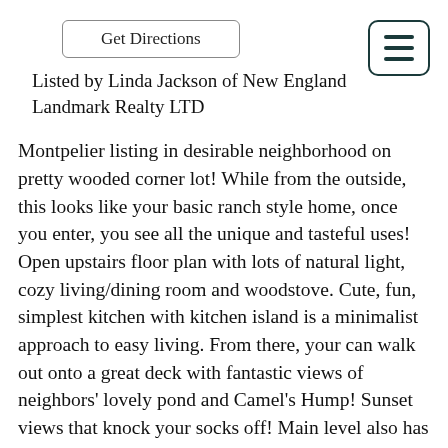Get Directions
Listed by Linda Jackson of New England Landmark Realty LTD
Montpelier listing in desirable neighborhood on pretty wooded corner lot! While from the outside, this looks like your basic ranch style home, once you enter, you see all the unique and tasteful uses! Open upstairs floor plan with lots of natural light, cozy living/dining room and woodstove. Cute, fun, simplest kitchen with kitchen island is a minimalist approach to easy living. From there, your can walk out onto a great deck with fantastic views of neighbors' lovely pond and Camel's Hump! Sunset views that knock your socks off! Main level also has one ample primary bedroom with a 3/4 bath and second bedroom and another full bath. Down on the lower level, there's the slate floor entry with a cute gas stove, a family room or extra guest space, plus